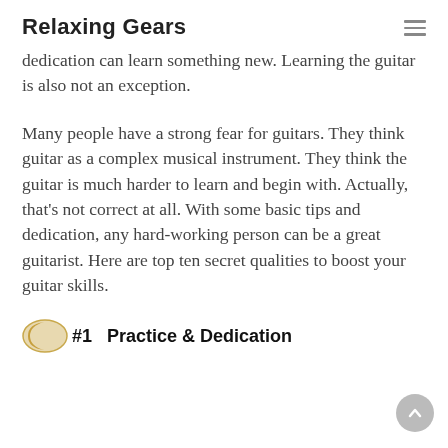Relaxing Gears
dedication can learn something new. Learning the guitar is also not an exception.
Many people have a strong fear for guitars. They think guitar as a complex musical instrument. They think the guitar is much harder to learn and begin with. Actually, that’s not correct at all. With some basic tips and dedication, any hard-working person can be a great guitarist. Here are top ten secret qualities to boost your guitar skills.
#1  Practice & Dedication